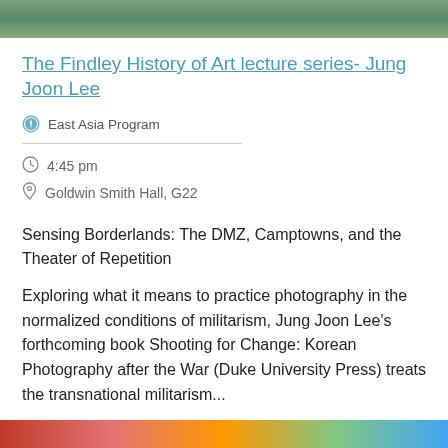[Figure (photo): Top banner image, partially visible, appears to show outdoor or nature scene]
The Findley History of Art lecture series- Jung Joon Lee
East Asia Program
4:45 pm
Goldwin Smith Hall, G22
Sensing Borderlands: The DMZ, Camptowns, and the Theater of Repetition
Exploring what it means to practice photography in the normalized conditions of militarism, Jung Joon Lee's forthcoming book Shooting for Change: Korean Photography after the War (Duke University Press) treats the transnational militarism...
[Figure (photo): Bottom banner image, partially visible, colorful]